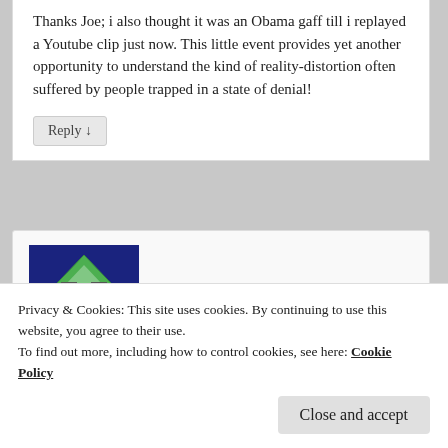Thanks Joe; i also thought it was an Obama gaff till i replayed a Youtube clip just now. This little event provides yet another opportunity to understand the kind of reality-distortion often suffered by people trapped in a state of denial!
Reply ↓
[Figure (illustration): User avatar: a cartoon face on a green diamond shape against a dark blue background]
glenn on January 21, 2009 at 5:48 am said:
Privacy & Cookies: This site uses cookies. By continuing to use this website, you agree to their use.
To find out more, including how to control cookies, see here: Cookie Policy
Close and accept